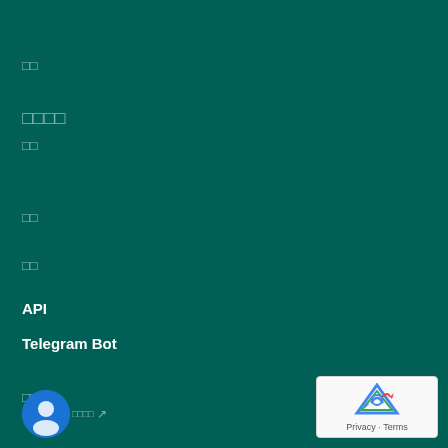□□
□□□□
□□
□□
□□
API
Telegram Bot
□□
[Figure (screenshot): reCAPTCHA logo with Privacy and Terms text]
[Figure (photo): User avatar blue circle with person icon]